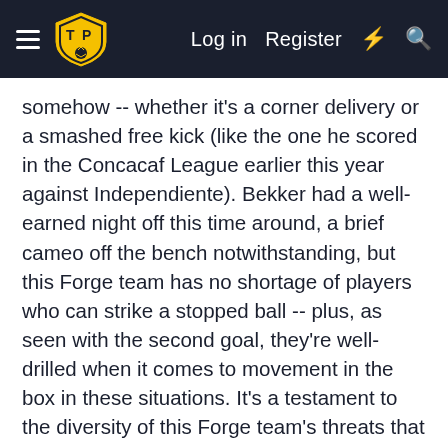Log in  Register
somehow -- whether it's a corner delivery or a smashed free kick (like the one he scored in the Concacaf League earlier this year against Independiente). Bekker had a well-earned night off this time around, a brief cameo off the bench notwithstanding, but this Forge team has no shortage of players who can strike a stopped ball -- plus, as seen with the second goal, they're well-drilled when it comes to movement in the box in these situations. It's a testament to the diversity of this Forge team's threats that they've been able to win in different ways this season -- not to say this win was an abnormal one, as they still played much of their patented free-flowing, expansive football. This time around, it was set-pieces that made the difference, but it could be any number of other things that secure their next win.